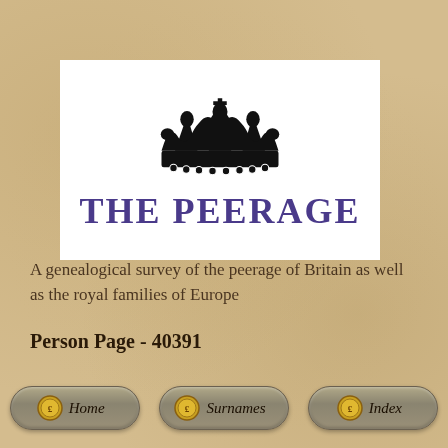[Figure (logo): The Peerage logo: black crown above purple small-caps text reading THE PEERAGE, on white background]
A genealogical survey of the peerage of Britain as well as the royal families of Europe
Person Page - 40391
[Figure (other): Three navigation buttons: Home, Surnames, Index — styled as rounded gray pill buttons with golden coin icons]
Home   Surnames   Index